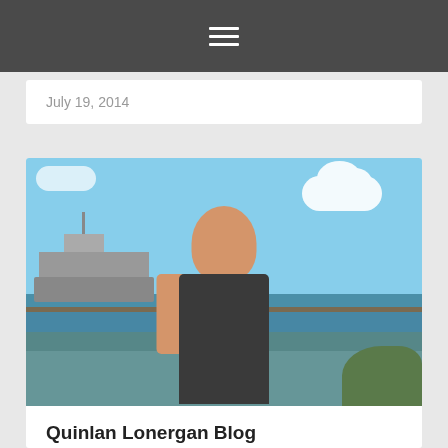☰
July 19, 2014
[Figure (photo): Young man smiling at camera outdoors at a harbor with a large naval ship in the background, blue sky with clouds, wearing a black tank top]
Quinlan Lonergan Blog
Thoughtfulness when at sea seems as inescapable as it is inevitable. I ponder at length the line of men dating back centuries who